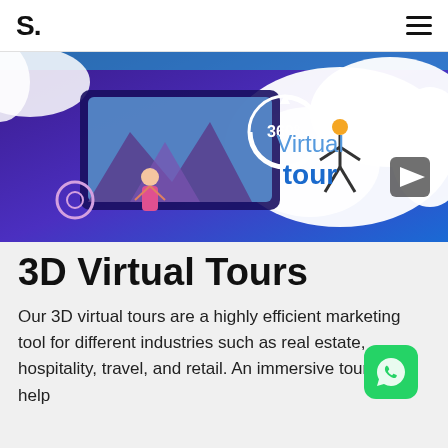S.
[Figure (illustration): Virtual tour promotional banner with 360-degree VR illustration on blue/purple gradient background. Left side shows a person interacting with a large screen showing mountain landscape, gear icons, and a circular 360° arrow icon. Right side shows white cloud shape with text 'Virtual tour' where 'tour' is in bold blue.]
3D Virtual Tours
Our 3D virtual tours are a highly efficient marketing tool for different industries such as real estate, hospitality, travel, and retail. An immersive tour will help